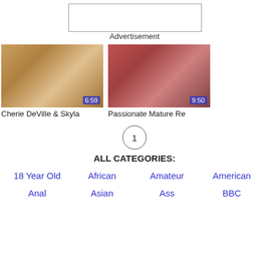[Figure (other): Advertisement banner placeholder box]
Advertisement
[Figure (photo): Video thumbnail: Cherie DeVille & Skyla, duration 6:59]
Cherie DeVille & Skyla
[Figure (photo): Video thumbnail: Passionate Mature Re, duration 9:50]
Passionate Mature Re
1
ALL CATEGORIES:
18 Year Old
African
Amateur
American
Anal
Asian
Ass
BBC